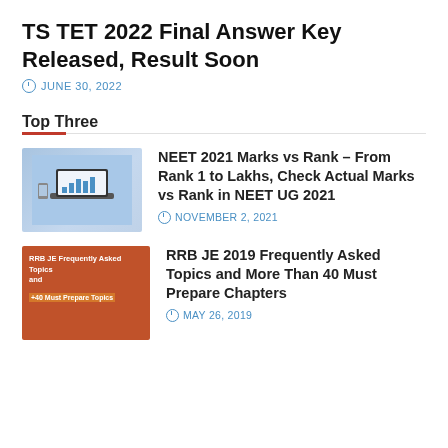TS TET 2022 Final Answer Key Released, Result Soon
JUNE 30, 2022
Top Three
NEET 2021 Marks vs Rank – From Rank 1 to Lakhs, Check Actual Marks vs Rank in NEET UG 2021
NOVEMBER 2, 2021
RRB JE 2019 Frequently Asked Topics and More Than 40 Must Prepare Chapters
MAY 26, 2019